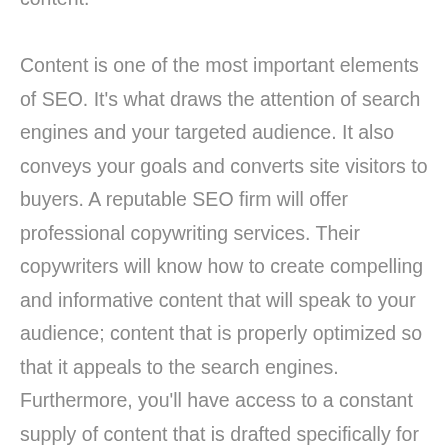content. Content is one of the most important elements of SEO. It's what draws the attention of search engines and your targeted audience. It also conveys your goals and converts site visitors to buyers. A reputable SEO firm will offer professional copywriting services. Their copywriters will know how to create compelling and informative content that will speak to your audience; content that is properly optimized so that it appeals to the search engines. Furthermore, you'll have access to a constant supply of content that is drafted specifically for your business so that your website can stay current and not only reach a top-ranking position, but stay